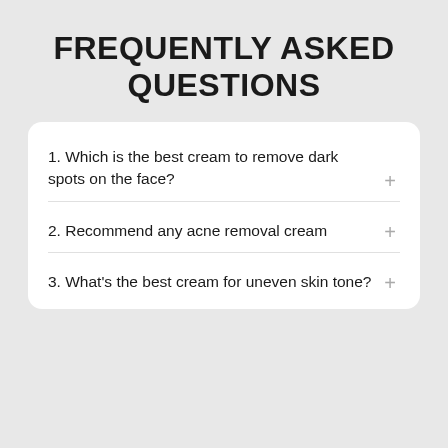FREQUENTLY ASKED QUESTIONS
1. Which is the best cream to remove dark spots on the face?
2. Recommend any acne removal cream
3. What's the best cream for uneven skin tone?